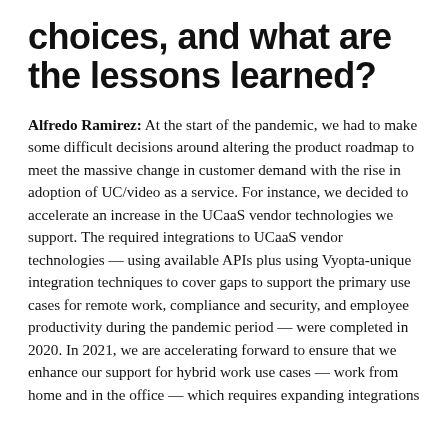choices, and what are the lessons learned?
Alfredo Ramirez: At the start of the pandemic, we had to make some difficult decisions around altering the product roadmap to meet the massive change in customer demand with the rise in adoption of UC/video as a service. For instance, we decided to accelerate an increase in the UCaaS vendor technologies we support. The required integrations to UCaaS vendor technologies — using available APIs plus using Vyopta-unique integration techniques to cover gaps to support the primary use cases for remote work, compliance and security, and employee productivity during the pandemic period — were completed in 2020. In 2021, we are accelerating forward to ensure that we enhance our support for hybrid work use cases — work from home and in the office — which requires expanding integrations